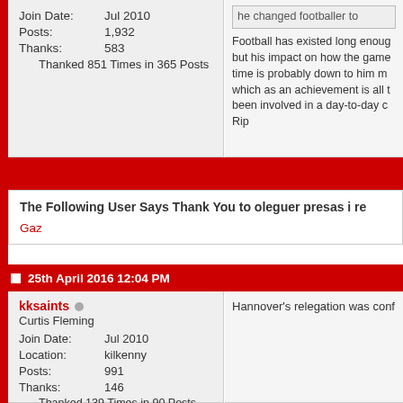Join Date: Jul 2010
Posts: 1,932
Thanks: 583
Thanked 851 Times in 365 Posts
Football has existed long enough but his impact on how the game time is probably down to him me which as an achievement is all t been involved in a day-to-day c Rip
The Following User Says Thank You to oleguer presas i re
Gaz
25th April 2016 12:04 PM
kksaints
Curtis Fleming
Join Date: Jul 2010
Location: kilkenny
Posts: 991
Thanks: 146
Thanked 139 Times in 90 Posts
Hannover's relegation was conf